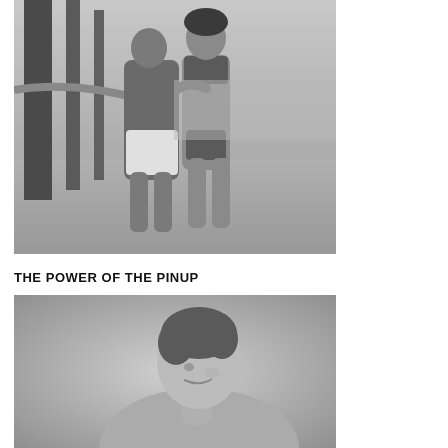[Figure (photo): Black and white photograph of a young man and woman standing at a beach near wooden pier pilings. The man is shirtless wearing white shorts, the woman is wearing a patterned bikini. They are standing on sand.]
THE POWER OF THE PINUP
[Figure (photo): Black and white photograph of a young woman with curly upswept hair, smiling, shown from behind/side in a pin-up style pose.]